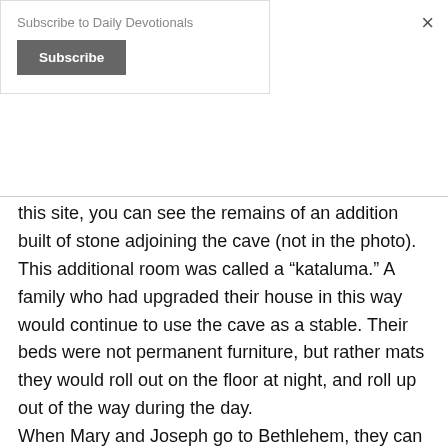Subscribe to Daily Devotionals
Subscribe
this site, you can see the remains of an addition built of stone adjoining the cave (not in the photo). This additional room was called a “kataluma.” A family who had upgraded their house in this way would continue to use the cave as a stable. Their beds were not permanent furniture, but rather mats they would roll out on the floor at night, and roll up out of the way during the day.
When Mary and Joseph go to Bethlehem, they can find no room in the “kataluma.” Floor space at night was at a premium even when people were not hosting travelers.
At this archeological site you can see the kind of village